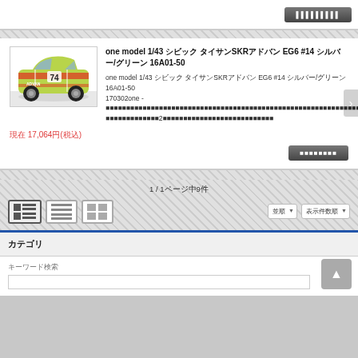[Figure (screenshot): Top strip with dark button (Japanese text, obscured)]
one model 1/43 シビック タイサンSKRアドバン EG6 #14 シルバー/グリーン 16A01-50
one model 1/43 シビック タイサンSKRアドバン EG6 #14 シルバー/グリーン 16A01-50 170302one - Japanese description text 2
現在 17,064円(税込)
1 / 1ページ中9件
□□□□
□□□□□□□□
□□□□□□□□